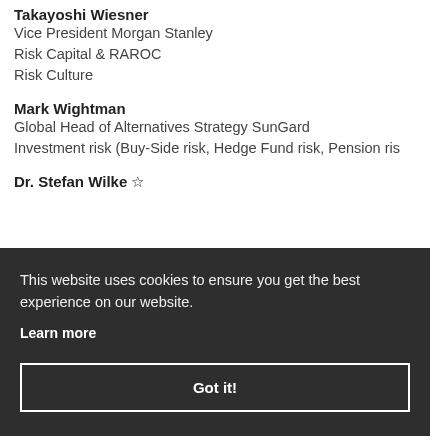Takayoshi Wiesner
Vice President Morgan Stanley
Risk Capital & RAROC
Risk Culture
Mark Wightman
Global Head of Alternatives Strategy SunGard
Investment risk (Buy-Side risk, Hedge Fund risk, Pension ris…
Dr. Stefan Wilke ☆
This website uses cookies to ensure you get the best experience on our website.
Learn more
Got it!
Associate Arnold & Porter LLP